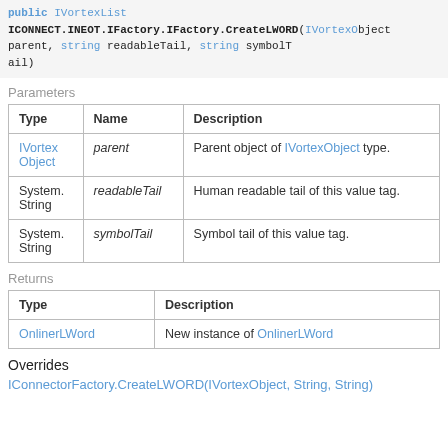public IVortexList ICONNECT.INEOT.IFactory.CreateLWORD(IVortextObject parent, string readableTail, string symbolTail)
Parameters
| Type | Name | Description |
| --- | --- | --- |
| IVortexObject | parent | Parent object of IVortexObject type. |
| System.String | readableTail | Human readable tail of this value tag. |
| System.String | symbolTail | Symbol tail of this value tag. |
Returns
| Type | Description |
| --- | --- |
| OnlinerLWord | New instance of OnlinerLWord |
Overrides
IConnectorFactory.CreateLWORD(IVortexObject, String, String)